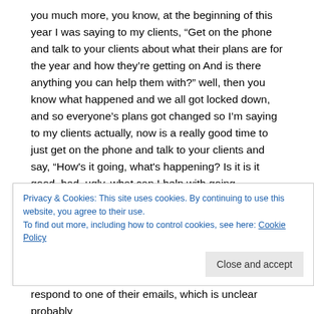you much more, you know, at the beginning of this year I was saying to my clients, “Get on the phone and talk to your clients about what their plans are for the year and how they’re getting on And is there anything you can help them with?” well, then you know what happened and we all got locked down, and so everyone’s plans got changed so I’m saying to my clients actually, now is a really good time to just get on the phone and talk to your clients and say, “How's it going, what's happening? Is it is it good, bad, ugly, what can I help with going forward?” and people, some people are just grateful to have somebody to talk to and it’s amazing what people will tell you and then it’s,. you’ve just got to really listen to what
Privacy & Cookies: This site uses cookies. By continuing to use this website, you agree to their use.
To find out more, including how to control cookies, see here: Cookie Policy
respond to one of their emails, which is unclear probably